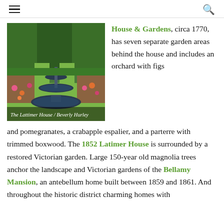≡  🔍
[Figure (photo): Garden photo showing a two-tiered iron fountain surrounded by flowering plants, trimmed hedges, and green lawn paths. Caption reads: The Lattimer House / Beverly Hurley]
House & Gardens, circa 1770, has seven separate garden areas behind the house and includes an orchard with figs and pomegranates, a crabapple espalier, and a parterre with trimmed boxwood. The 1852 Latimer House is surrounded by a restored Victorian garden. Large 150-year old magnolia trees anchor the landscape and Victorian gardens of the Bellamy Mansion, an antebellum home built between 1859 and 1861. And throughout the historic district charming homes with